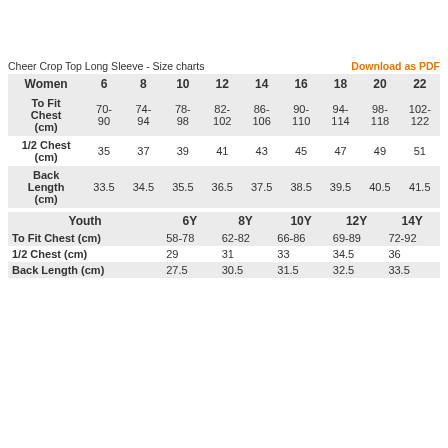Cheer Crop Top Long Sleeve - Size charts
| Women | 6 | 8 | 10 | 12 | 14 | 16 | 18 | 20 | 22 |
| --- | --- | --- | --- | --- | --- | --- | --- | --- | --- |
| To Fit Chest (cm) | 70-90 | 74-94 | 78-98 | 82-102 | 86-106 | 90-110 | 94-114 | 98-118 | 102-122 |
| 1/2 Chest (cm) | 35 | 37 | 39 | 41 | 43 | 45 | 47 | 49 | 51 |
| Back Length (cm) | 33.5 | 34.5 | 35.5 | 36.5 | 37.5 | 38.5 | 39.5 | 40.5 | 41.5 |
| Youth | 6Y | 8Y | 10Y | 12Y | 14Y |
| --- | --- | --- | --- | --- | --- |
| To Fit Chest (cm) | 58-78 | 62-82 | 66-86 | 69-89 | 72-92 |
| 1/2 Chest (cm) | 29 | 31 | 33 | 34.5 | 36 |
| Back Length (cm) | 27.5 | 30.5 | 31.5 | 32.5 | 33.5 |